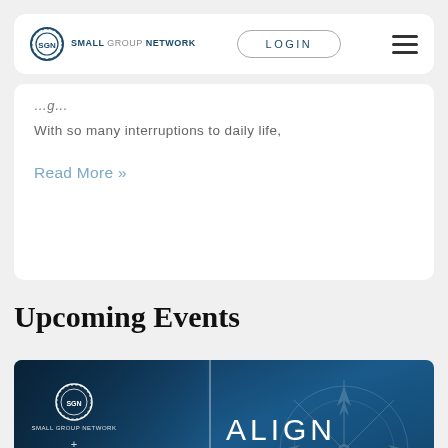SGN SMALL GROUP NETWORK  LOGIN
With so many interruptions to daily life,
Read More »
Upcoming Events
[Figure (illustration): Event promotional banner for ALIGN IRVINE March 24, co-presented by Small Group Network (SGN) and Lifeway, with compass rose graphic on dark blue background]